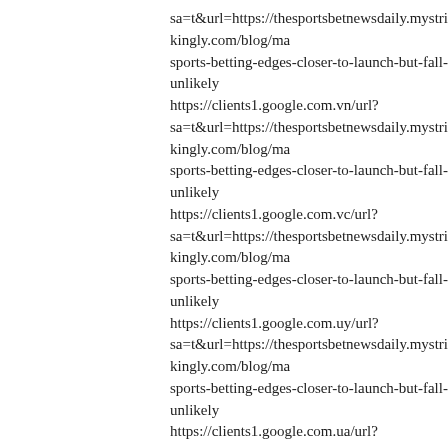sa=t&url=https://thesportsbetnewsdaily.mystrikingly.com/blog/ma sports-betting-edges-closer-to-launch-but-fall-unlikely
https://clients1.google.com.vn/url? sa=t&url=https://thesportsbetnewsdaily.mystrikingly.com/blog/ma sports-betting-edges-closer-to-launch-but-fall-unlikely
https://clients1.google.com.vc/url? sa=t&url=https://thesportsbetnewsdaily.mystrikingly.com/blog/ma sports-betting-edges-closer-to-launch-but-fall-unlikely
https://clients1.google.com.uy/url? sa=t&url=https://thesportsbetnewsdaily.mystrikingly.com/blog/ma sports-betting-edges-closer-to-launch-but-fall-unlikely
https://clients1.google.com.ua/url? sa=t&url=https://thesportsbetnewsdaily.mystrikingly.com/blog/ma sports-betting-edges-closer-to-launch-but-fall-unlikely
https://clients1.google.com.tr/url? sa=t&url=https://thesportsbetnewsdaily.mystrikingly.com/blog/ma